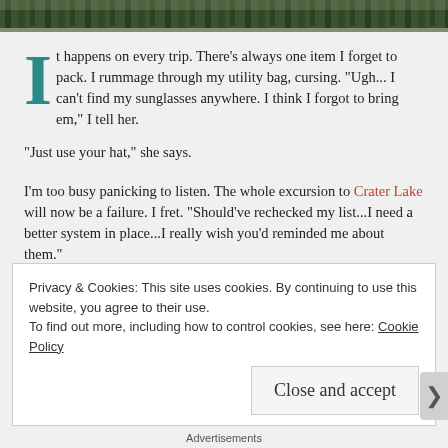[Figure (photo): Top banner image showing trees/forest landscape]
It happens on every trip. There's always one item I forget to pack. I rummage through my utility bag, cursing. "Ugh... I can't find my sunglasses anywhere. I think I forgot to bring em," I tell her.
"Just use your hat," she says.
I'm too busy panicking to listen. The whole excursion to Crater Lake will now be a failure. I fret. "Should've rechecked my list...I need a better system in place...I really wish you'd reminded me about them."
Privacy & Cookies: This site uses cookies. By continuing to use this website, you agree to their use.
To find out more, including how to control cookies, see here: Cookie Policy
Close and accept
Advertisements